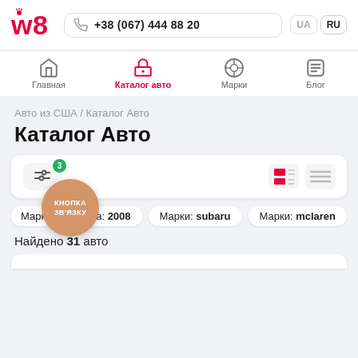w8 logo | +38 (067) 444 88 20 | UA | RU
[Figure (screenshot): Navigation bar with icons: Главная (Home), Каталог авто (active, red), Марки (VW logo), Блог]
Авто из США / Каталог Авто
Каталог Авто
[Figure (screenshot): Filter card with filter icon showing badge 3, and view toggle buttons (grid and list view)]
Марка: 2008
Марки: subaru
Марки: mclaren
Найдено 31 авто